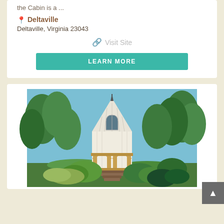the Cabin is a ...
Deltaville
Deltaville, Virginia 23043
Visit Site
LEARN MORE
[Figure (photo): A white chapel-style cabin with a pointed Gothic arch roofline and arched porch columns, surrounded by dense green trees, with brick steps leading to the entrance.]